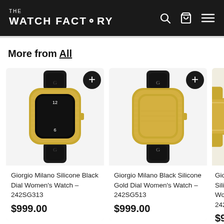THE WATCH FACTORY
More from All
[Figure (photo): Giorgio Milano Silicone Black Dial Women's Watch - 242SG313, gold case with crystal bezel, black dial with numerals, black silicone strap]
Giorgio Milano Silicone Black Dial Women's Watch – 242SG313
$999.00
[Figure (photo): Giorgio Milano Black Silicone Gold Dial Women's Watch - 242SG513, gold case with crystal bezel, gold dial, black silicone strap]
Giorgio Milano Black Silicone Gold Dial Women's Watch – 242SG513
$999.00
[Figure (photo): Partial view of third Giorgio Milano watch product card]
Giorg Silico Wom 242S
$999